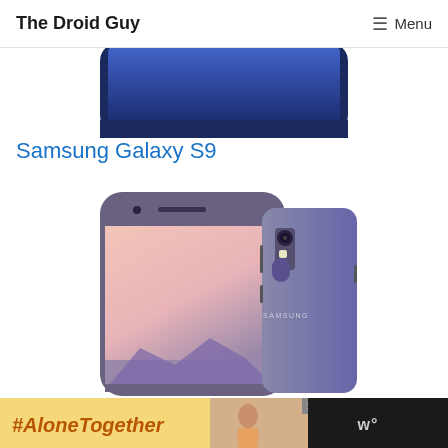The Droid Guy   ☰ Menu
[Figure (photo): Top portion of a Samsung Galaxy phone showing the front screen with a blue display, cropped at the top of the page.]
Samsung Galaxy S9
[Figure (photo): Samsung Galaxy S8/S9 smartphone shown from front and back. Front view shows a pink/rose display with a curved-edge design. Back view shows a gray-purple body with camera, flash, and Samsung branding. Both views side by side.]
[Figure (photo): Advertisement banner at the bottom. Left yellow section with bold italic text '#AloneTogether', center a photo of a woman, right side a logo on dark background reading 'w°' with a close (x) button.]